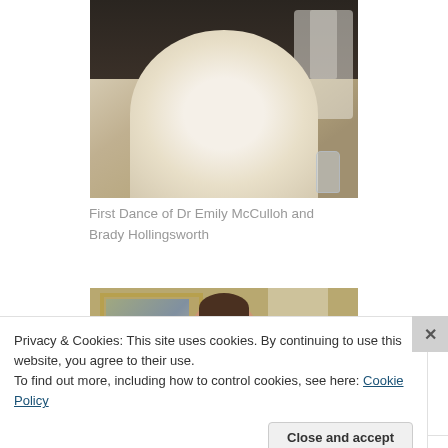[Figure (photo): Wedding photo showing a bride in a white dress during first dance, with chairs and a glass visible in the background.]
First Dance of Dr Emily McCulloh and Brady Hollingsworth
[Figure (photo): Photo of a smiling bride wearing a veil, standing in front of a gold-framed painting.]
Privacy & Cookies: This site uses cookies. By continuing to use this website, you agree to their use.
To find out more, including how to control cookies, see here: Cookie Policy
Close and accept